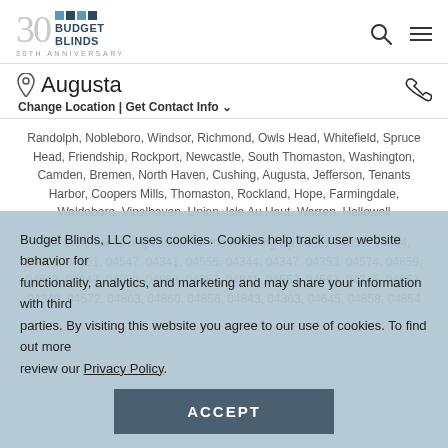Budget Blinds 30th Anniversary
Augusta
Change Location | Get Contact Info
Randolph, Nobleboro, Windsor, Richmond, Owls Head, Whitefield, Spruce Head, Friendship, Rockport, Newcastle, South Thomaston, Washington, Camden, Bremen, North Haven, Cushing, Augusta, Jefferson, Tenants Harbor, Coopers Mills, Thomaston, Rockland, Hope, Farmingdale, Waldoboro, Vinalhaven, Union, Isle Au Haut, Warren, Hallowell
This franchise is responsible for the following zip codes:04333, 04864, 04861, 04551, 04547, 04341, 04555, 04344, 04347, 04353, 04574, 04859, 04543, 04847, 04330, 04862, 04357, 04841, 04553, 04563, 04345, 04853, 04348, 04572, 04863, 04860, 04856, 04843, 04363, 04645, 04858, 04854
Budget Blinds, LLC uses cookies. Cookies help track user website behavior for functionality, analytics, and marketing and may share your information with third parties. By visiting this website you agree to our use of cookies. To find out more review our Privacy Policy.